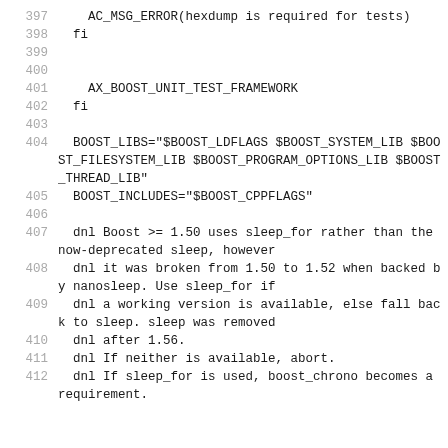397     AC_MSG_ERROR(hexdump is required for tests)
398   fi
399
400
401     AX_BOOST_UNIT_TEST_FRAMEWORK
402   fi
403
404   BOOST_LIBS="$BOOST_LDFLAGS $BOOST_SYSTEM_LIB $BOOST_FILESYSTEM_LIB $BOOST_PROGRAM_OPTIONS_LIB $BOOST_THREAD_LIB"
405   BOOST_INCLUDES="$BOOST_CPPFLAGS"
406
407   dnl Boost >= 1.50 uses sleep_for rather than the now-deprecated sleep, however
408   dnl it was broken from 1.50 to 1.52 when backed by nanosleep. Use sleep_for if
409   dnl a working version is available, else fall back to sleep. sleep was removed
410   dnl after 1.56.
411   dnl If neither is available, abort.
412   dnl If sleep_for is used, boost_chrono becomes a requirement.